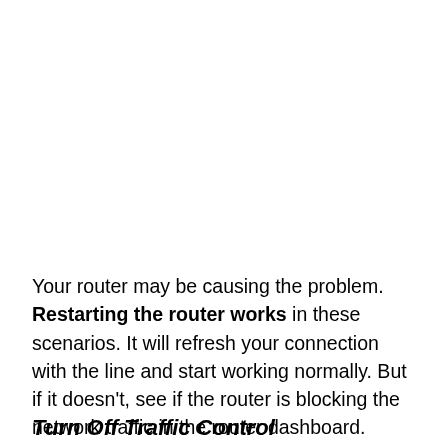Your router may be causing the problem. Restarting the router works in these scenarios. It will refresh your connection with the line and start working normally. But if it doesn't, see if the router is blocking the network traffic in the router dashboard.
Turn Off Traffic Control